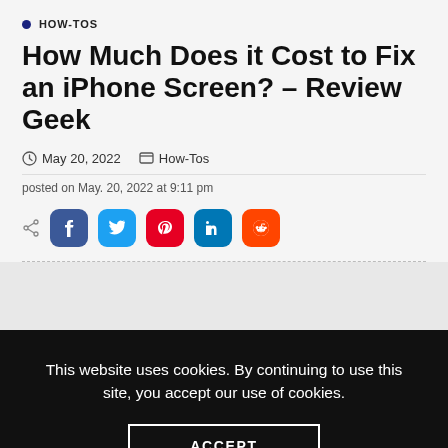HOW-TOS
How Much Does it Cost to Fix an iPhone Screen? – Review Geek
May 20, 2022   How-Tos
posted on May. 20, 2022 at 9:11 pm
[Figure (other): Social share buttons: Facebook, Twitter, Pinterest, LinkedIn, Reddit]
This website uses cookies. By continuing to use this site, you accept our use of cookies.
ACCEPT